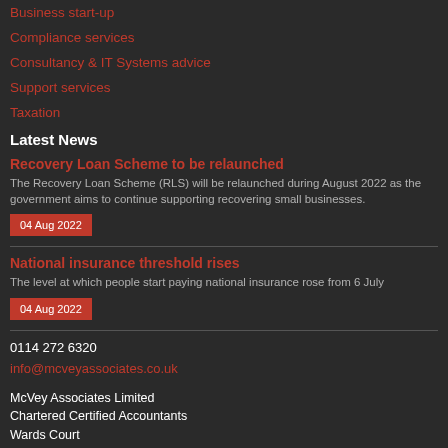Business start-up
Compliance services
Consultancy & IT Systems advice
Support services
Taxation
Latest News
Recovery Loan Scheme to be relaunched
The Recovery Loan Scheme (RLS) will be relaunched during August 2022 as the government aims to continue supporting recovering small businesses.
04 Aug 2022
National insurance threshold rises
The level at which people start paying national insurance rose from 6 July
04 Aug 2022
0114 272 6320
info@mcveyassociates.co.uk
McVey Associates Limited
Chartered Certified Accountants
Wards Court